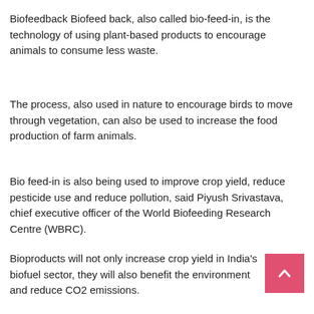Biofeedback Biofeed back, also called bio-feed-in, is the technology of using plant-based products to encourage animals to consume less waste.
The process, also used in nature to encourage birds to move through vegetation, can also be used to increase the food production of farm animals.
Bio feed-in is also being used to improve crop yield, reduce pesticide use and reduce pollution, said Piyush Srivastava, chief executive officer of the World Biofeeding Research Centre (WBRC).
Bioproducts will not only increase crop yield in India's biofuel sector, they will also benefit the environment and reduce CO2 emissions.
Bioseed biofuel could also help feed the world with its remaining carbon-intensive crop.